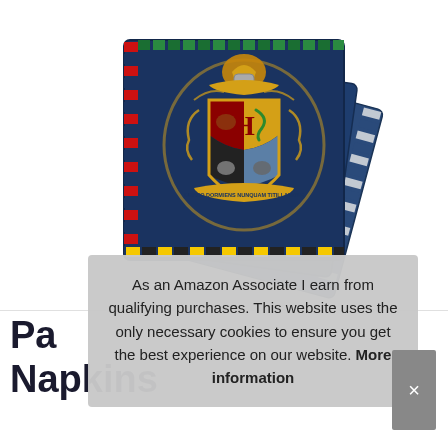[Figure (photo): Harry Potter Hogwarts crest party napkins fanned out, showing multiple square navy blue napkins with gold Hogwarts crest and 'Draco Dormiens Nunquam Titillandus' motto, with striped borders.]
As an Amazon Associate I earn from qualifying purchases. This website uses the only necessary cookies to ensure you get the best experience on our website. More information
Pa
Napkins